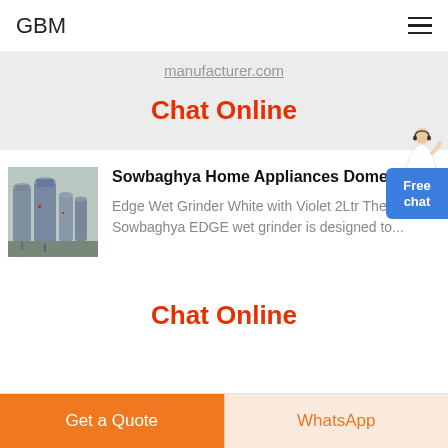GBM
manufacturer.com
Chat Online
[Figure (photo): Industrial silos or tanks, grey metal structures]
Sowbaghya Home Appliances Domestic
Edge Wet Grinder White with Violet 2Ltr The Sowbaghya EDGE wet grinder is designed to...
Chat Online
Get a Quote
WhatsApp